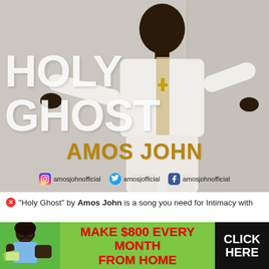[Figure (photo): Album art for 'Holy Ghost' by Amos John. A man in a white outfit with a gold cross necklace and a decorative stole, arms outstretched, posing against a light background. Large white text reads 'HOLY GHOST' and golden text reads 'AMOS JOHN' with social media handles below.]
"Holy Ghost" by Amos John is a song you need for Intimacy with
[Figure (infographic): Advertisement banner: green background with a woman holding cash on left, red bold text 'MAKE $800 EVERY MONTH FROM HOME' in center, black box with white 'CLICK HERE' on right.]